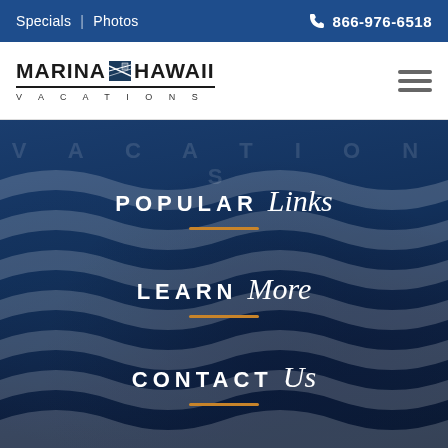Specials | Photos  866-976-6518
[Figure (logo): Marina Hawaii Vacations logo with text and icon]
POPULAR Links
LEARN More
CONTACT Us